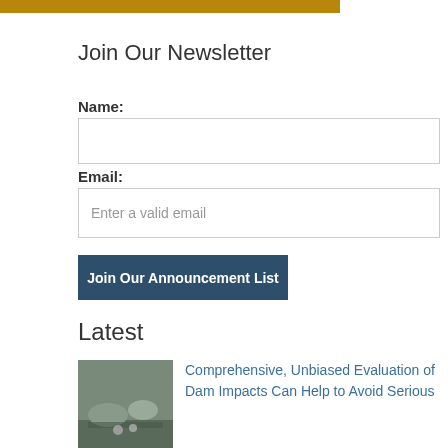[Figure (other): Gold/amber horizontal bar at top of page]
Join Our Newsletter
Name:
Email:
Enter a valid email
Join Our Announcement List
Latest
[Figure (photo): Small thumbnail photo of a natural scene near a dam or waterway]
Comprehensive, Unbiased Evaluation of Dam Impacts Can Help to Avoid Serious